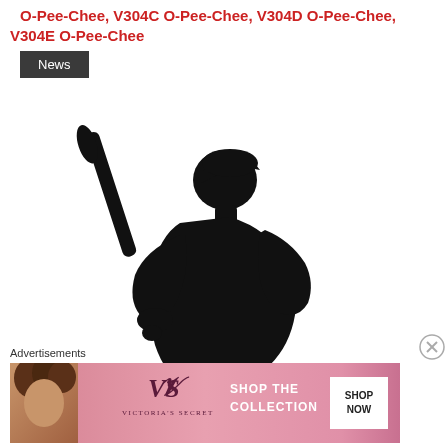O-Pee-Chee, V304C O-Pee-Chee, V304D O-Pee-Chee, V304E O-Pee-Chee
News
[Figure (illustration): Black silhouette of a baseball batter holding a bat, viewed from the side, with a baseball cap on]
Advertisements
[Figure (photo): Victoria's Secret advertisement banner with pink gradient background, model photo on left, VS logo in center, 'SHOP THE COLLECTION' text, and 'SHOP NOW' button]